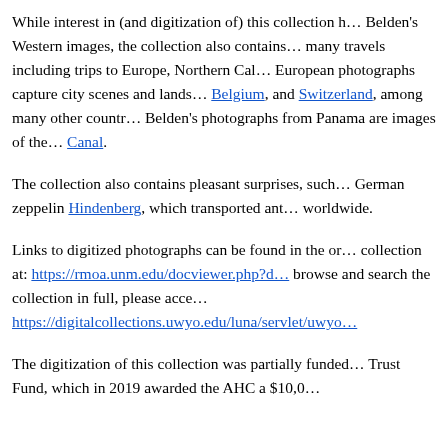While interest in (and digitization of) this collection h... Belden's Western images, the collection also contains... many travels including trips to Europe, Northern Cal... European photographs capture city scenes and lands... Belgium, and Switzerland, among many other countr... Belden's photographs from Panama are images of the... Canal.
The collection also contains pleasant surprises, such... German zeppelin Hindenberg, which transported ant... worldwide.
Links to digitized photographs can be found in the on... collection at: https://rmoa.unm.edu/docviewer.php?d... browse and search the collection in full, please acce... https://digitalcollections.uwyo.edu/luna/servlet/uwyo...
The digitization of this collection was partially funded... Trust Fund, which in 2019 awarded the AHC a $10,0...